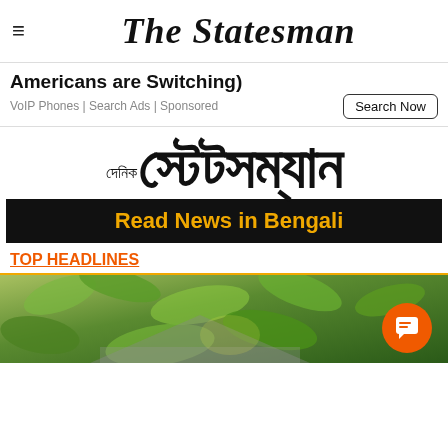The Statesman
Americans are Switching)
VoIP Phones | Search Ads | Sponsored
[Figure (logo): The Statesman Bengali edition logo with Bengali script and 'Read News in Bengali' banner]
TOP HEADLINES
[Figure (photo): Green foliage/leaves outdoor photo with orange chat button overlay]